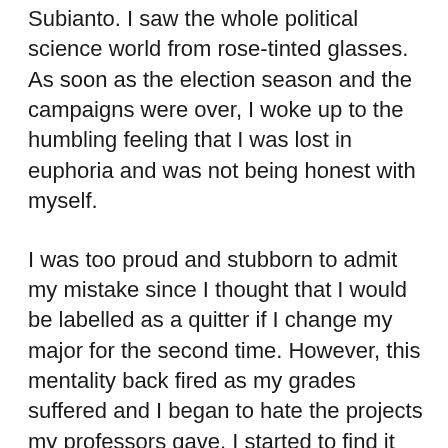Subianto. I saw the whole political science world from rose-tinted glasses. As soon as the election season and the campaigns were over, I woke up to the humbling feeling that I was lost in euphoria and was not being honest with myself.
I was too proud and stubborn to admit my mistake since I thought that I would be labelled as a quitter if I change my major for the second time. However, this mentality back fired as my grades suffered and I began to hate the projects my professors gave. I started to find it difficult to force myself to attend lectures and even my friends commented on my lack of energy. Defeated, I finally scheduled a meeting with my advisor after rejecting his invitation for weeks. I was afraid that he would judge me. Surprisingly, as soon as I sat down, he just told me a story of what he was like when he was my age: confused, uncertain of his passion, and rebellious. What helped him pick his field of specialization was a heart-to-heart conversation he had with the seniors in his alma mater. The point of his story